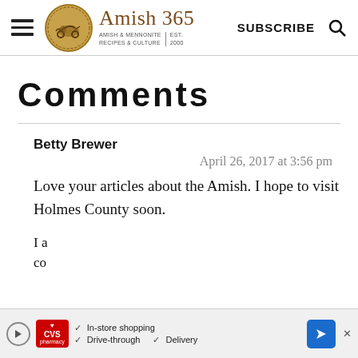Amish 365 — AMISH & MENNONITE RECIPES & CULTURE | EST. 2000 | SUBSCRIBE
Comments
Betty Brewer
April 26, 2017 at 3:56 pm
Love your articles about the Amish. I hope to visit Holmes County soon.
I a  co
[Figure (infographic): CVS pharmacy advertisement bar at bottom showing In-store shopping, Drive-through, and Delivery options with a navigation arrow icon]